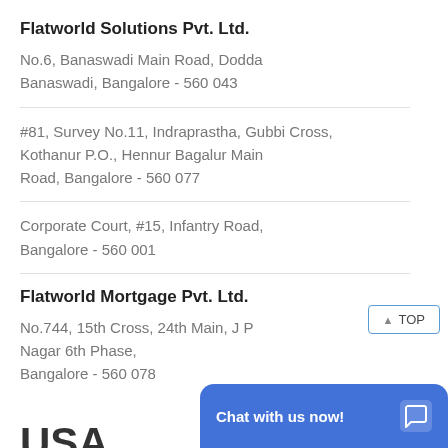Flatworld Solutions Pvt. Ltd.
No.6, Banaswadi Main Road, Dodda Banaswadi, Bangalore - 560 043
#81, Survey No.11, Indraprastha, Gubbi Cross,
Kothanur P.O., Hennur Bagalur Main Road, Bangalore - 560 077
Corporate Court, #15, Infantry Road, Bangalore - 560 001
Flatworld Mortgage Pvt. Ltd.
No.744, 15th Cross, 24th Main, J P Nagar 6th Phase,
Bangalore - 560 078
USA
Flatworld So…
116 Village Bl…
[Figure (other): Chat with us now! button overlay at bottom right]